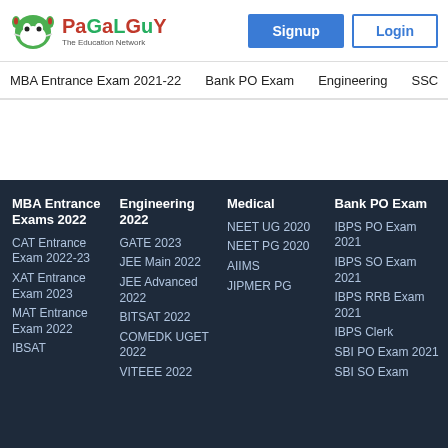[Figure (logo): PaGaLGuY - The Education Network logo with mascot]
Signup | Login
MBA Entrance Exam 2021-22 | Bank PO Exam | Engineering | SSC
MBA Entrance Exams 2022
CAT Entrance Exam 2022-23
XAT Entrance Exam 2023
MAT Entrance Exam 2022
IBSAT
Engineering 2022
GATE 2023
JEE Main 2022
JEE Advanced 2022
BITSAT 2022
COMEDK UGET 2022
VITEEE 2022
Medical
NEET UG 2020
NEET PG 2020
AIIMS
JIPMER PG
Bank PO Exam
IBPS PO Exam 2021
IBPS SO Exam 2021
IBPS RRB Exam 2021
IBPS Clerk
SBI PO Exam 2021
SBI SO Exam